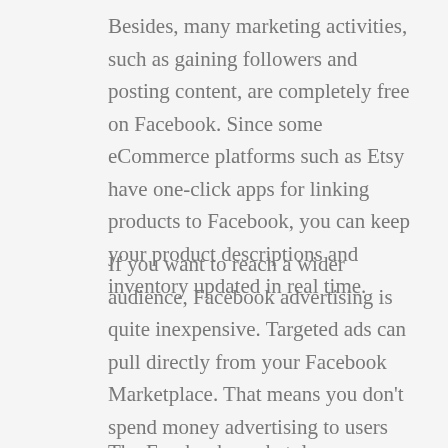Besides, many marketing activities, such as gaining followers and posting content, are completely free on Facebook. Since some eCommerce platforms such as Etsy have one-click apps for linking products to Facebook, you can keep your product descriptions and inventory updated in real time.
If you want to reach a wider audience, Facebook advertising is quite inexpensive. Targeted ads can pull directly from your Facebook Marketplace. That means you don't spend money advertising to users who have never shown interest in your products.
The Facebook marketplace customization tools are also pretty respectable. You can create a